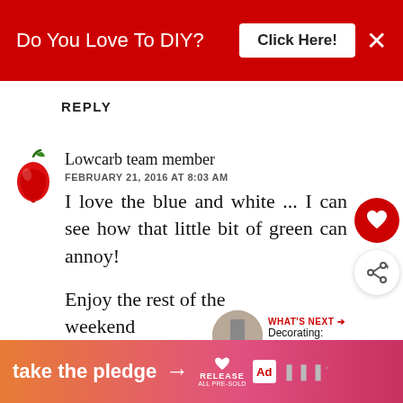[Figure (infographic): Red banner ad at top: 'Do You Love To DIY?' with 'Click Here!' button and X close button]
REPLY
[Figure (illustration): Red pepper avatar icon]
Lowcarb team member
FEBRUARY 21, 2016 AT 8:03 AM
I love the blue and white ... I can see how that little bit of green can annoy!
Enjoy the rest of the weekend
All the best Jan
[Figure (infographic): Bottom banner ad: 'take the pledge' with arrow and Release logo, ad badge, and grey blocks]